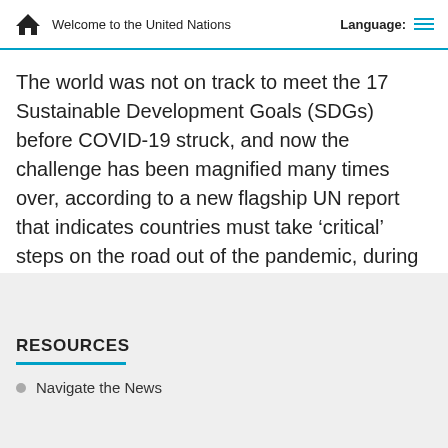Welcome to the United Nations   Language:
The world was not on track to meet the 17 Sustainable Development Goals (SDGs) before COVID-19 struck, and now the challenge has been magnified many times over, according to a new flagship UN report that indicates countries must take ‘critical’ steps on the road out of the pandemic, during the next 18 months.
RESOURCES
Navigate the News